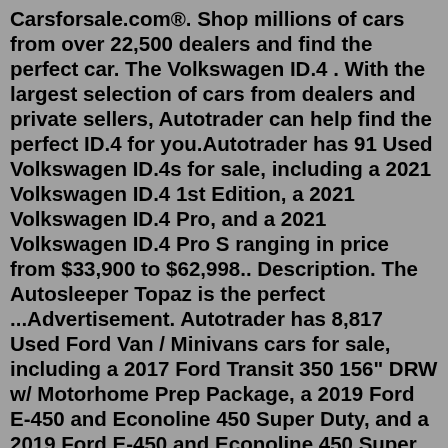Carsforsale.com®. Shop millions of cars from over 22,500 dealers and find the perfect car. The Volkswagen ID.4 . With the largest selection of cars from dealers and private sellers, Autotrader can help find the perfect ID.4 for you.Autotrader has 91 Used Volkswagen ID.4s for sale, including a 2021 Volkswagen ID.4 1st Edition, a 2021 Volkswagen ID.4 Pro, and a 2021 Volkswagen ID.4 Pro S ranging in price from $33,900 to $62,998.. Description. The Autosleeper Topaz is the perfect ...Advertisement. Autotrader has 8,817 Used Ford Van / Minivans cars for sale, including a 2017 Ford Transit 350 156" DRW w/ Motorhome Prep Package, a 2019 Ford E-450 and Econoline 450 Super Duty, and a 2019 Ford E-450 and Econoline 450 Super Duty w/ Motorhome Prep Package ranging in price from $995 to $208,000.Our Goal is to be your camping friendly first place to look when Buying a New or Used RV. With our selection of Class A, Class B, or Class C, Motorhome, Fifth Wheels, Travel Trailer, Folding Camper, Truck Camper, Park Model or any other type of...